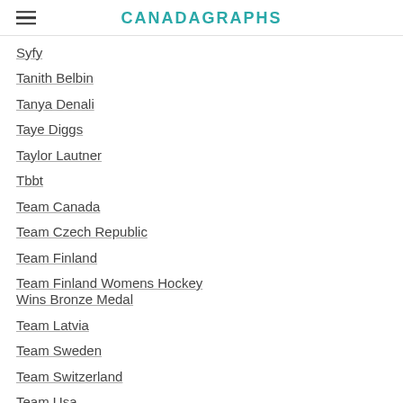CANADAGRAPHS
Syfy
Tanith Belbin
Tanya Denali
Taye Diggs
Taylor Lautner
Tbbt
Team Canada
Team Czech Republic
Team Finland
Team Finland Womens Hockey Wins Bronze Medal
Team Latvia
Team Sweden
Team Switzerland
Team Usa